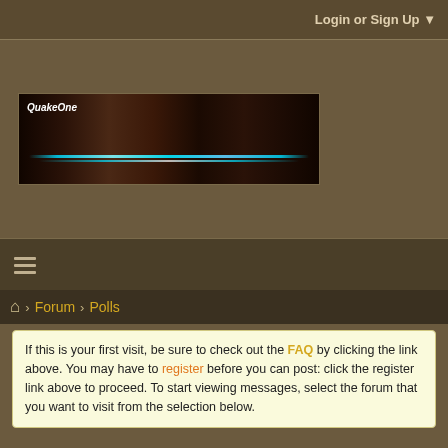Login or Sign Up ▼
[Figure (illustration): QuakeOne forum banner with dark background and glowing cyan lightning effect]
≡ (hamburger menu icon)
🏠 › Forum › Polls
If this is your first visit, be sure to check out the FAQ by clicking the link above. You may have to register before you can post: click the register link above to proceed. To start viewing messages, select the forum that you want to visit from the selection below.
Bring back original Quakeone til a polished version of the current site is available?
+ More Options ▾
Filter ▼